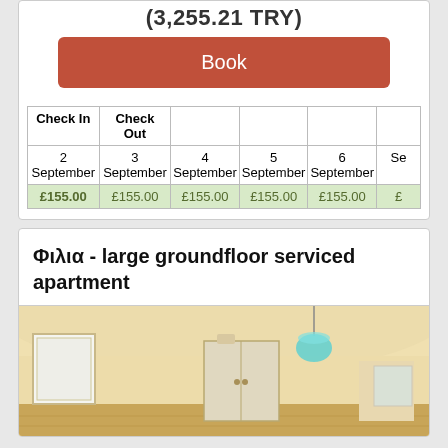(3,255.21 TRY)
Book
| Check In | Check Out |  |  |  |  |
| --- | --- | --- | --- | --- | --- |
| 2 September | 3 September | 4 September | 5 September | 6 September | Se… |
| £155.00 | £155.00 | £155.00 | £155.00 | £155.00 | £… |
Φιλια - large groundfloor serviced apartment
[Figure (photo): Interior photo of a room with cream walls, curved ceiling, white cabinet/wardrobe, teal pendant lamp, and wooden floor visible at bottom]